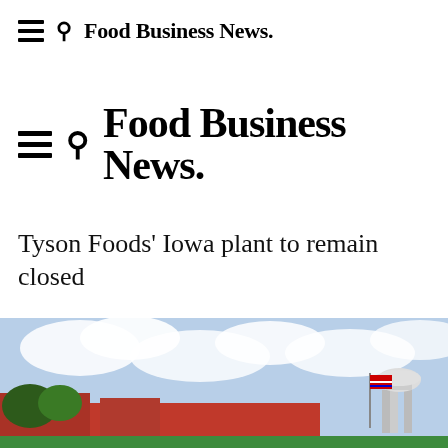≡  🔍  Food Business News.
≡  🔍  Food Business News.
Tyson Foods' Iowa plant to remain closed
[Figure (photo): Exterior photo of an industrial plant facility with a water tower visible, American flag, blue sky with clouds.]